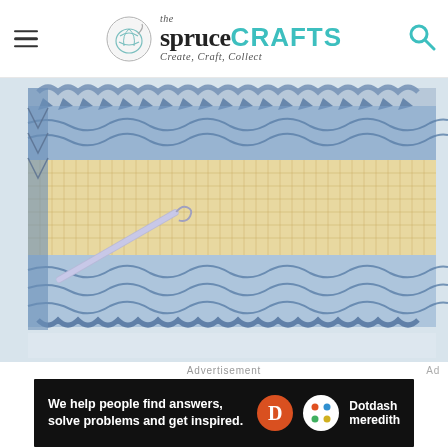the spruce CRAFTS — Create, Craft, Collect
[Figure (photo): Close-up photo of a crochet work in progress showing blue lacy crochet edging on top and bottom with cream/yellow double-crochet stitches in the middle panel, with a metallic crochet hook visible at the bottom left on a white background.]
Advertisement
[Figure (screenshot): Advertisement banner for Dotdash Meredith. Black background with white bold text reading 'We help people find answers, solve problems and get inspired.' with the Dotdash D logo (orange circle) and a colorful dots icon beside the Dotdash Meredith name in white.]